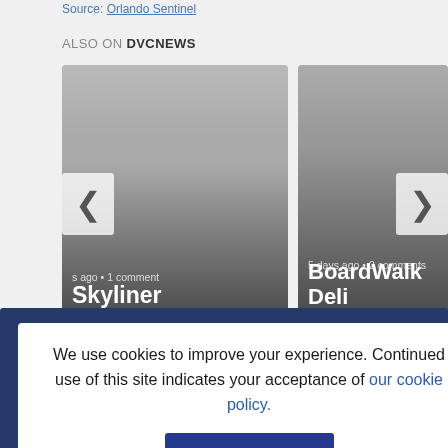Source: Orlando Sentinel
ALSO ON DVCNEWS
[Figure (screenshot): Card carousel showing two article previews: 'Skyliner Downtime' (with timestamp and 1 comment) and 'BoardWalk Deli Open' (5 days ago, 2 comments), with left/right navigation arrows]
We use cookies to improve your experience. Continued use of this site indicates your acceptance of our cookie policy.
Accept